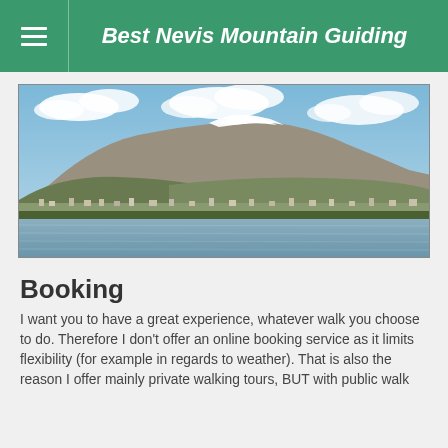Best Nevis Mountain Guiding
[Figure (photo): Landscape photo showing Ben Nevis mountain with snow-capped peak, a loch in the foreground, green slopes, and a town in the middle ground under a partly cloudy sky.]
Booking
I want you to have a great experience, whatever walk you choose to do. Therefore I don't offer an online booking service as it limits flexibility (for example in regards to weather). That is also the reason I offer mainly private walking tours, BUT with public walk